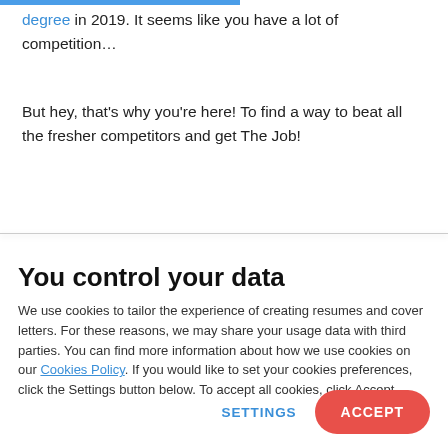degree in 2019. It seems like you have a lot of competition…
But hey, that's why you're here! To find a way to beat all the fresher competitors and get The Job!
You control your data
We use cookies to tailor the experience of creating resumes and cover letters. For these reasons, we may share your usage data with third parties. You can find more information about how we use cookies on our Cookies Policy. If you would like to set your cookies preferences, click the Settings button below. To accept all cookies, click Accept.
SETTINGS
ACCEPT